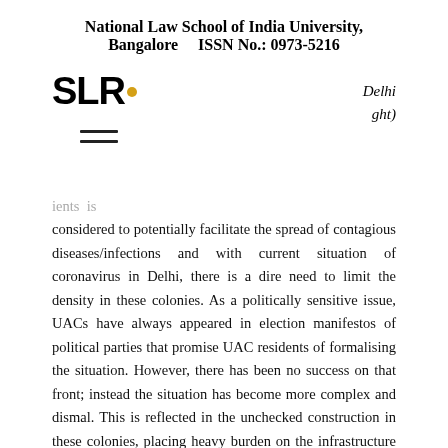National Law School of India University, Bangalore    ISSN No.: 0973-5216
[Figure (logo): SLR logo with yellow dot, and italic text 'Delhi' and 'ght)' on the right]
[Figure (other): Hamburger menu icon (three horizontal bars)]
ents  is considered to potentially facilitate the spread of contagious diseases/infections and with current situation of coronavirus in Delhi, there is a dire need to limit the density in these colonies. As a politically sensitive issue, UACs have always appeared in election manifestos of political parties that promise UAC residents of formalising the situation. However, there has been no success on that front; instead the situation has become more complex and dismal. This is reflected in the unchecked construction in these colonies, placing heavy burden on the infrastructure resources.